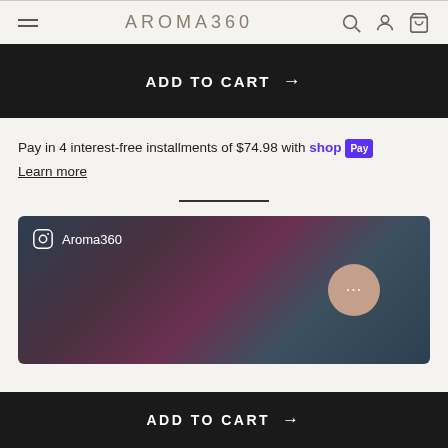AROMA360
ADD TO CART →
Pay in 4 interest-free installments of $74.98 with shop Pay Learn more
[Figure (screenshot): Instagram embed card showing Aroma360 brand with dark gradient background and chat bubble icon]
ADD TO CART →